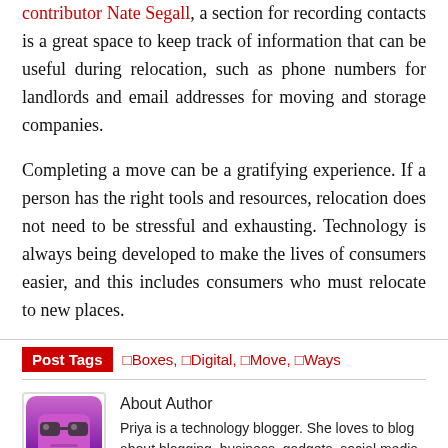contributor Nate Segall, a section for recording contacts is a great space to keep track of information that can be useful during relocation, such as phone numbers for landlords and email addresses for moving and storage companies.
Completing a move can be a gratifying experience. If a person has the right tools and resources, relocation does not need to be stressful and exhausting. Technology is always being developed to make the lives of consumers easier, and this includes consumers who must relocate to new places.
Post Tags  ⬛Boxes, ⬛Digital, ⬛Move, ⬛Ways
About Author
Priya is a technology blogger. She loves to blog about blogging, business, gadgets, social media, latest tech news and wordpress.
Comments